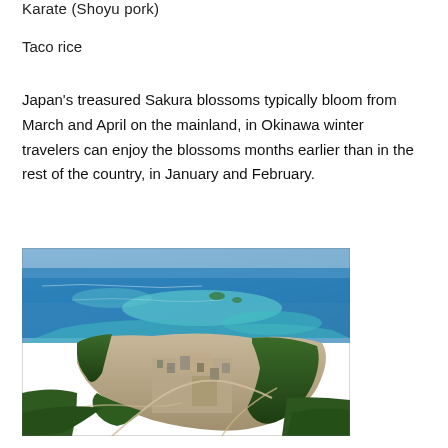Karate (Shoyu pork)
Taco rice
Japan's treasured Sakura blossoms typically bloom from March and April on the mainland, in Okinawa winter travelers can enjoy the blossoms months earlier than in the rest of the country, in January and February.
[Figure (photo): Aerial photograph of a coastal town in Okinawa, Japan, showing blue ocean waters with coral reefs, a peninsula with urban development, and surrounding dense forest vegetation.]